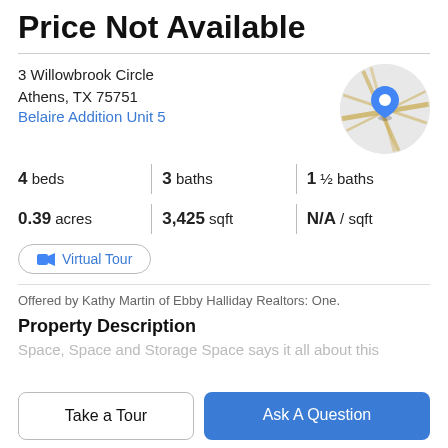Price Not Available
3 Willowbrook Circle
Athens, TX 75751
Belaire Addition Unit 5
[Figure (map): Circular map thumbnail showing a location pin marker on a street map near Athens, TX]
4 beds   3 baths   1 ½ baths
0.39 acres   3,425 sqft   N/A / sqft
Virtual Tour
Offered by Kathy Martin of Ebby Halliday Realtors: One.
Property Description
Space, Space and Storage Space says it all about this
Take a Tour
Ask A Question